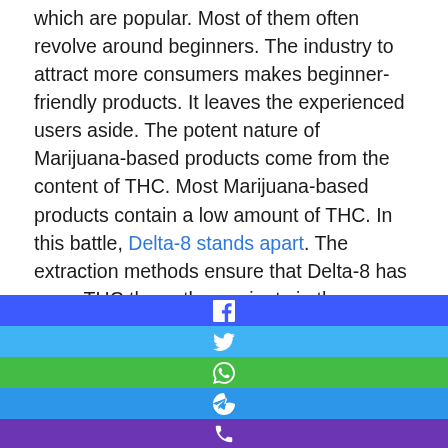which are popular. Most of them often revolve around beginners. The industry to attract more consumers makes beginner-friendly products. It leaves the experienced users aside. The potent nature of Marijuana-based products come from the content of THC. Most Marijuana-based products contain a low amount of THC. In this battle, Delta-8 stands apart. The extraction methods ensure that Delta-8 has more THC than other variants in the segment. Its distillate form can instantly induce trance in the consumer. Many consider it the best among Delta products, making it popular. The extra THC
[Figure (infographic): Social sharing buttons row: Facebook (blue), Twitter (light blue), WhatsApp (green), Telegram (blue), Phone (purple), each centered with white icon]